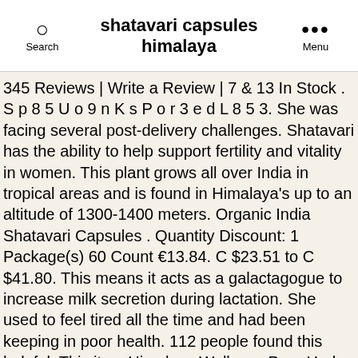Search | shatavari capsules himalaya | Menu
345 Reviews | Write a Review | 7 & 13 In Stock . S p 8 5 U o 9 n K s P o r 3 e d L 8 5 3. She was facing several post-delivery challenges. Shatavari has the ability to help support fertility and vitality in women. This plant grows all over India in tropical areas and is found in Himalaya's up to an altitude of 1300-1400 meters. Organic India Shatavari Capsules . Quantity Discount: 1 Package(s) 60 Count €13.84. C $23.51 to C $41.80. This means it acts as a galactagogue to increase milk secretion during lactation. She used to feel tired all the time and had been keeping in poor health. 112 people found this helpful. This item Himalaya Wellness Pure Herbs Shatavari Women's Wellness | Promotes lactation | - 60 Tablets Natures Velvet Lifecare Fenugreek Pure Extract (500 mg), 60 veggie capsules - Pack of 1 Nutriherbs Safed Musli Extract Capsules Of 800 Mg Boost Immunity Energy Strength & Stamina - 60 Capsules It was botanically described in 1799. Supports lactation in new mothers by